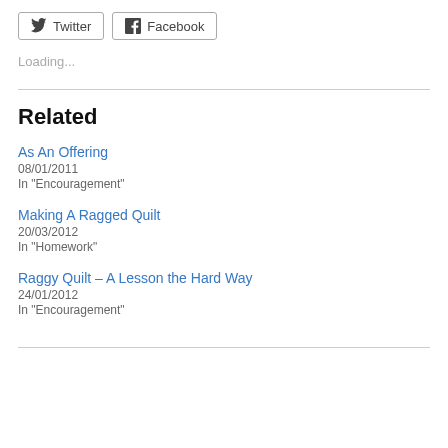[Figure (other): Twitter share button with bird icon]
[Figure (other): Facebook share button with f icon]
Loading...
Related
As An Offering
08/01/2011
In "Encouragement"
Making A Ragged Quilt
20/03/2012
In "Homework"
Raggy Quilt – A Lesson the Hard Way
24/01/2012
In "Encouragement"